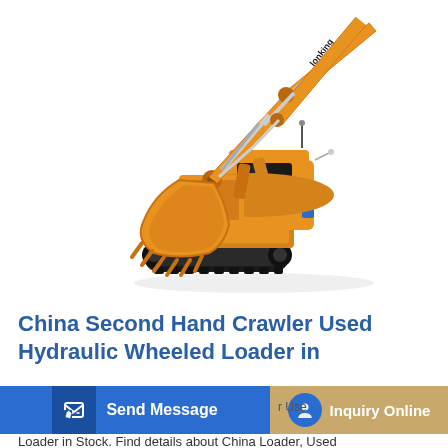[Figure (photo): Yellow crawler excavator (hydraulic wheeled loader) with extended boom arm and bucket attachment, shown on white background. Brand markings visible on boom arm.]
China Second Hand Crawler Used Hydraulic Wheeled Loader in
Send Message
Inquiry Online
Loader in Stock. Find details about China Loader, Used